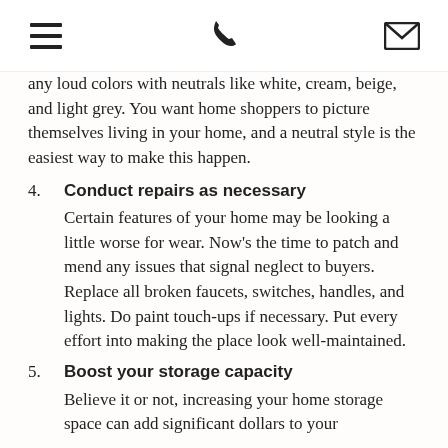[menu icon] [phone icon] [email icon]
any loud colors with neutrals like white, cream, beige, and light grey. You want home shoppers to picture themselves living in your home, and a neutral style is the easiest way to make this happen.
4. Conduct repairs as necessary
Certain features of your home may be looking a little worse for wear. Now's the time to patch and mend any issues that signal neglect to buyers. Replace all broken faucets, switches, handles, and lights. Do paint touch-ups if necessary. Put every effort into making the place look well-maintained.
5. Boost your storage capacity
Believe it or not, increasing your home storage space can add significant dollars to your